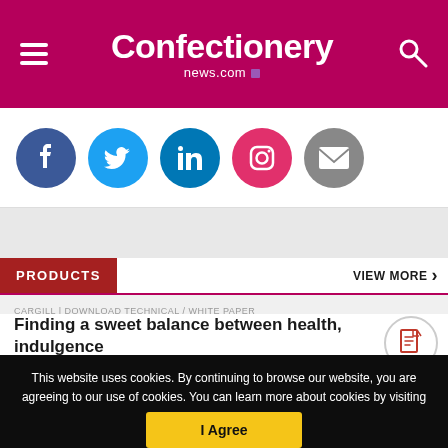Confectionery news.com
[Figure (other): Social media icons: Facebook, Twitter, LinkedIn, Instagram, Email]
PRODUCTS
VIEW MORE
CARGILL | DOWNLOAD TECHNICAL / WHITE PAPER
Finding a sweet balance between health, indulgence
This website uses cookies. By continuing to browse our website, you are agreeing to our use of cookies. You can learn more about cookies by visiting our privacy & cookies policy page.
I Agree